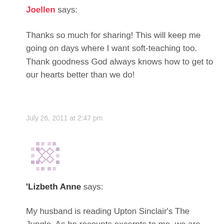Joellen says:
Thanks so much for sharing! This will keep me going on days where I want soft-teaching too. Thank goodness God always knows how to get to our hearts better than we do!
July 26, 2011 at 2:47 pm
[Figure (illustration): Avatar image — decorative pixel/diamond pattern in muted pink/purple tones]
'Lizbeth Anne says:
My husband is reading Upton Sinclair's The Jungle. As he recounts excerpts to me, we are